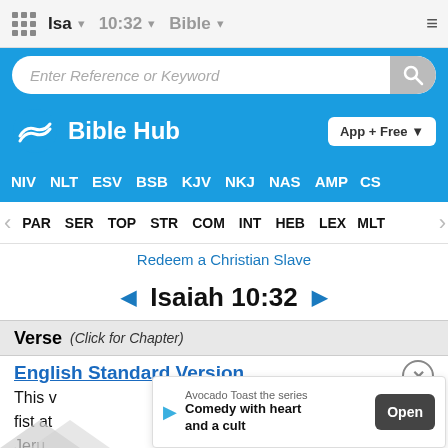Isa  10:32  Bible
[Figure (screenshot): Search bar with placeholder 'Enter Reference or Keyword' and search icon button]
[Figure (logo): Bible Hub logo with wave icon and 'Bible Hub' text, and 'App + Free' button]
NIV  NLT  ESV  BSB  KJV  NKJ  NAS  AMP  CS
PAR  SER  TOP  STR  COM  INT  HEB  LEX  MLT
Redeem a Christian Slave
◄ Isaiah 10:32 ►
Verse  (Click for Chapter)
English Standard Version
This v[...] his fist at [...] of Jeru[...]
[Figure (screenshot): Ad overlay: 'Avocado Toast the series' - Comedy with heart and a cult - Open button]